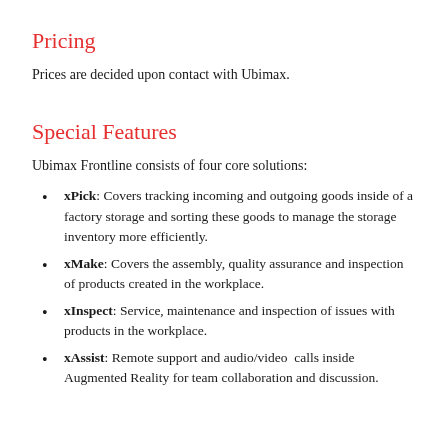Pricing
Prices are decided upon contact with Ubimax.
Special Features
Ubimax Frontline consists of four core solutions:
xPick: Covers tracking incoming and outgoing goods inside of a factory storage and sorting these goods to manage the storage inventory more efficiently.
xMake: Covers the assembly, quality assurance and inspection of products created in the workplace.
xInspect: Service, maintenance and inspection of issues with products in the workplace.
xAssist: Remote support and audio/video calls inside Augmented Reality for team collaboration and discussion.